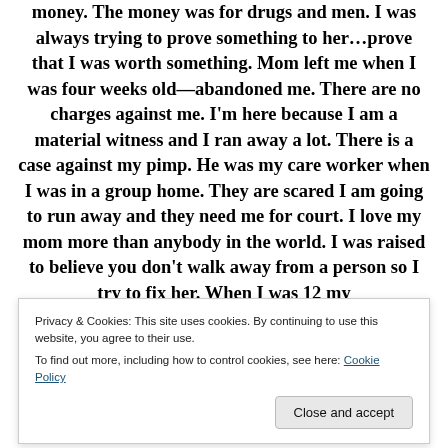money. The money was for drugs and men. I was always trying to prove something to her…prove that I was worth something. Mom left me when I was four weeks old—abandoned me. There are no charges against me. I'm here because I am a material witness and I ran away a lot. There is a case against my pimp. He was my care worker when I was in a group home. They are scared I am going to run away and they need me for court. I love my mom more than anybody in the world. I was raised to believe you don't walk away from a person so I try to fix her. When I was 12 my
Privacy & Cookies: This site uses cookies. By continuing to use this website, you agree to their use.
To find out more, including how to control cookies, see here: Cookie Policy
Close and accept
mother of her…